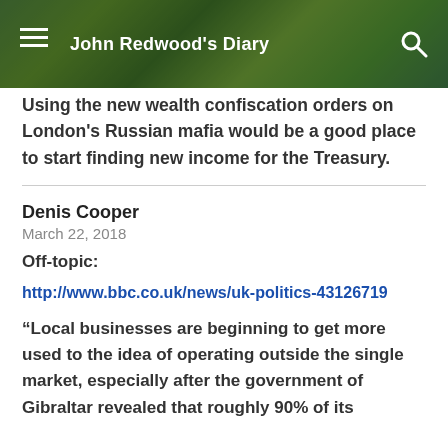John Redwood's Diary
Using the new wealth confiscation orders on London's Russian mafia would be a good place to start finding new income for the Treasury.
Denis Cooper
March 22, 2018
Off-topic:
http://www.bbc.co.uk/news/uk-politics-43126719
“Local businesses are beginning to get more used to the idea of operating outside the single market, especially after the government of Gibraltar revealed that roughly 90% of its